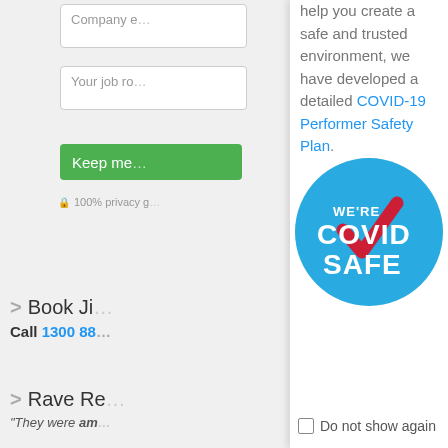Company e[mail]
Your job ro[le]
Keep me [updated]
100% privacy g[uaranteed]
help you create a safe and trusted environment, we have developed a detailed COVID-19 Performer Safety Plan.
[Figure (logo): We're COVID SAFE circular badge with blue background, red and white checkmark, white bold text]
Book Ji[m]
Call 1300 88[…]
Rave Re[views]
"They were am[azing]"
Do not show again